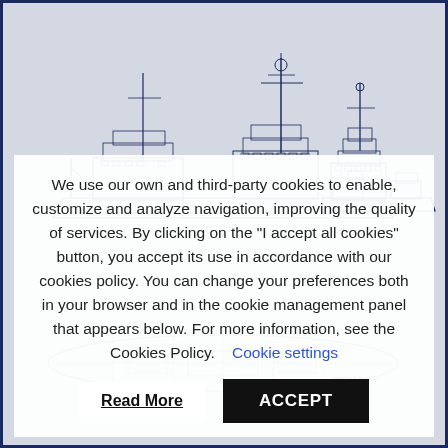[Figure (engineering-diagram): Naval/marine vessel schematic drawings showing side elevations and technical blueprints of ships, rendered in dark navy blue line art on light gray background. Multiple vessels shown including what appears to be a research or patrol vessel with masts, superstructure, and detailed deck equipment.]
We use our own and third-party cookies to enable, customize and analyze navigation, improving the quality of services. By clicking on the "I accept all cookies" button, you accept its use in accordance with our cookies policy. You can change your preferences both in your browser and in the cookie management panel that appears below. For more information, see the Cookies Policy.   Cookie settings
Read More
ACCEPT